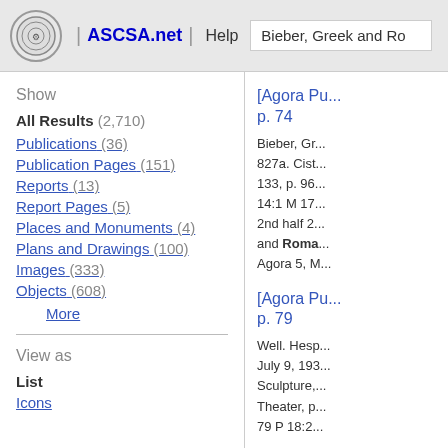ASCSA.net | Help | Bieber, Greek and Ro...
Show
All Results (2,710)
Publications (36)
Publication Pages (151)
Reports (13)
Report Pages (5)
Places and Monuments (4)
Plans and Drawings (100)
Images (333)
Objects (608)
More
View as
List
Icons
[Agora Pu... p. 74
Bieber, Gr... 827a. Cist... 133, p. 96... 14:1 M 17... 2nd half 2... and Roman... Agora 5, M...
[Agora Pu... p. 79
Well. Hesp... July 9, 193... Sculpture,... Theater, p... 79 P 18:2...